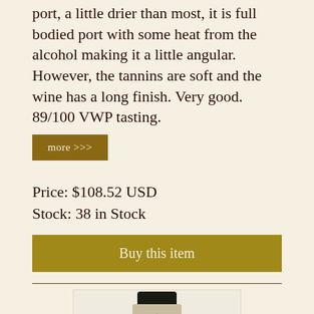port, a little drier than most, it is full bodied port with some heat from the alcohol making it a little angular. However, the tannins are soft and the wine has a long finish. Very good. 89/100 VWP tasting.
more >>>
Price: $108.52 USD
Stock: 38 in Stock
Buy this item
[Figure (photo): Top portion of a wine bottle with decorative label/foil and a circular seal reading KR 973499]